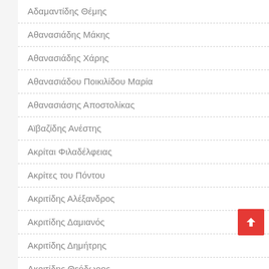Αδαμαντίδης Θέμης
Αθανασιάδης Μάκης
Αθανασιάδης Χάρης
Αθανασιάδου Ποικιλίδου Μαρία
Αθανασιάσης Αποστολίκας
Αϊβαζίδης Ανέστης
Ακρίται Φιλαδέλφειας
Ακρίτες του Πόντου
Ακριτίδης Αλέξανδρος
Ακριτίδης Δαμιανός
Ακριτίδης Δημήτρης
Ακριτίδης Θεόδωρος